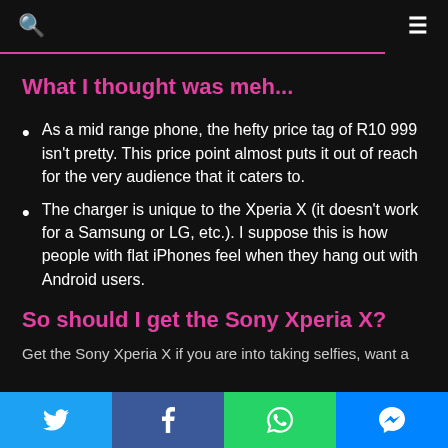🔍  ≡
What I thought was meh...
As a mid range phone, the hefty price tag of R10 999 isn't pretty. This price point almost puts it out of reach for the very audience that it caters to.
The charger is unique to the Xperia X (it doesn't work for a Samsung or LG, etc.). I suppose this is how people with flat iPhones feel when they hang out with Android users.
So should I get the Sony Xperia X?
Get the Sony Xperia X if you are into taking selfies, want a high quality
Twitter  Facebook  WhatsApp  Messenger